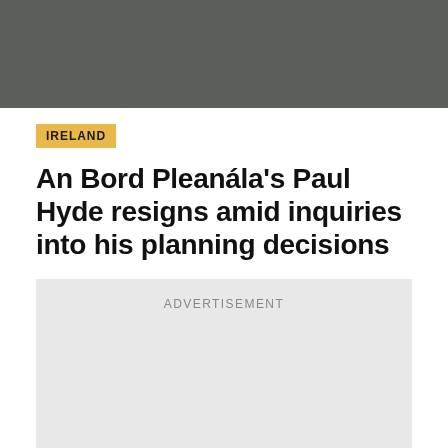[Figure (photo): Dark olive/grey header image banner at top of news article page]
IRELAND
An Bord Pleanála's Paul Hyde resigns amid inquiries into his planning decisions
[Figure (other): Advertisement placeholder box]